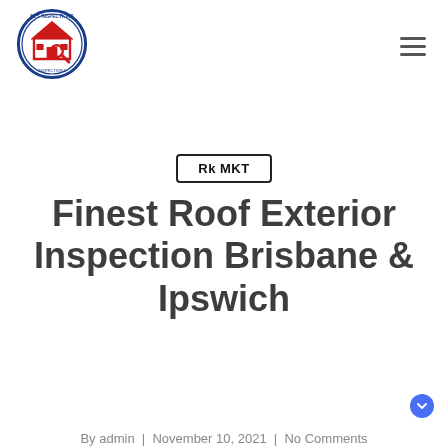[Figure (logo): NLS Inspections circular logo with a house and magnifying glass in red and blue]
[Figure (other): Hamburger menu icon (three horizontal lines)]
Rk MKT
Finest Roof Exterior Inspection Brisbane & Ipswich
By admin  |  November 10, 2021  |  No Comments